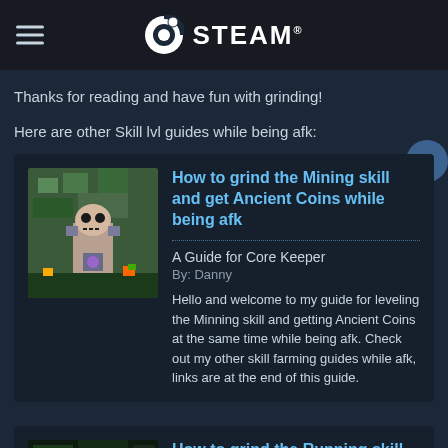STEAM®
Thanks for reading and have fun with grinding!
Here are other Skill lvl guides while being afk:
[Figure (screenshot): Game guide card showing a pixel art game screenshot thumbnail on left, with title 'How to grind the Mining skill and get Ancient Coins while being afk', subtitle 'A Guide for Core Keeper', author 'By: Danny', and description text.]
How to grind the Mining skill and get Ancient Coins while being afk
A Guide for Core Keeper
By: Danny
Hello and welcome to my guide for leveling the Minning skill and getting Ancient Coins at the same time while being afk. Check out my other skill farming guides while afk, links are at the end of this guide.
[Figure (screenshot): Partial game guide card at bottom showing dark thumbnail and partial title 'How to grind the Running skill while afk (doe...']
How to grind the Running skill while afk (doe